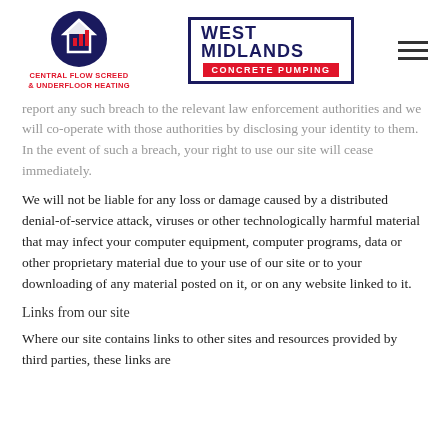[Figure (logo): Central Flow Screed & Underfloor Heating logo — dark blue circle with house and heating arrows icon, red text below]
[Figure (logo): West Midlands Concrete Pumping logo — dark blue bordered rectangle, bold dark blue text 'WEST MIDLANDS', red banner 'CONCRETE PUMPING']
report any such breach to the relevant law enforcement authorities and we will co-operate with those authorities by disclosing your identity to them. In the event of such a breach, your right to use our site will cease immediately.
We will not be liable for any loss or damage caused by a distributed denial-of-service attack, viruses or other technologically harmful material that may infect your computer equipment, computer programs, data or other proprietary material due to your use of our site or to your downloading of any material posted on it, or on any website linked to it.
Links from our site
Where our site contains links to other sites and resources provided by third parties, these links are